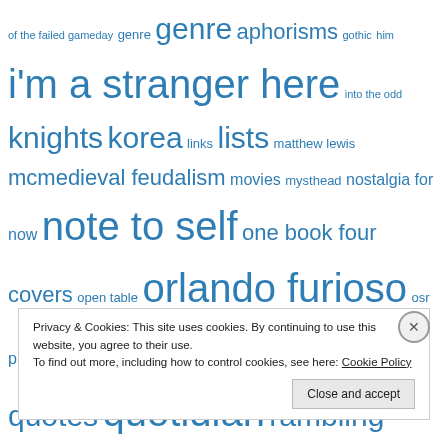of the failed gameday genre genre aphorisms gothic him i'm a stranger here into the odd knights korea links lists matthew lewis mcmedieval feudalism movies mysthead nostalgia for now note to self one book four covers open table orlando furioso osr pics pictures pohang polemics quotes quotidian rambling reading reading 2020 red spectres reviews roleplaying games rpg rpgs soapboxes stars without number teaching the monk the women of weird tales travel light ttrpg vaults of ur walking wandering weird weird tales women of weird tales
Privacy & Cookies: This site uses cookies. By continuing to use this website, you agree to their use. To find out more, including how to control cookies, see here: Cookie Policy